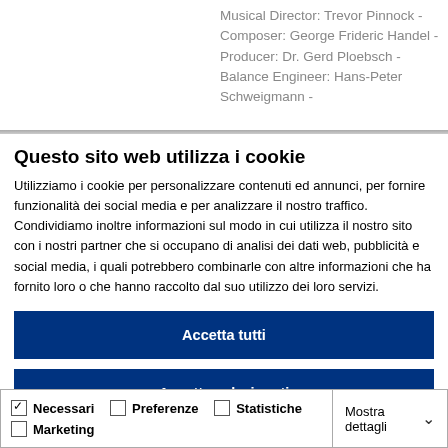Musical Director: Trevor Pinnock - Composer: George Frideric Handel - Producer: Dr. Gerd Ploebsch - Balance Engineer: Hans-Peter Schweigmann -
Questo sito web utilizza i cookie
Utilizziamo i cookie per personalizzare contenuti ed annunci, per fornire funzionalità dei social media e per analizzare il nostro traffico. Condividiamo inoltre informazioni sul modo in cui utilizza il nostro sito con i nostri partner che si occupano di analisi dei dati web, pubblicità e social media, i quali potrebbero combinarle con altre informazioni che ha fornito loro o che hanno raccolto dal suo utilizzo dei loro servizi.
Accetta tutti
Accetta selezionati
Rifiuta
Necessari  Preferenze  Statistiche  Marketing  Mostra dettagli